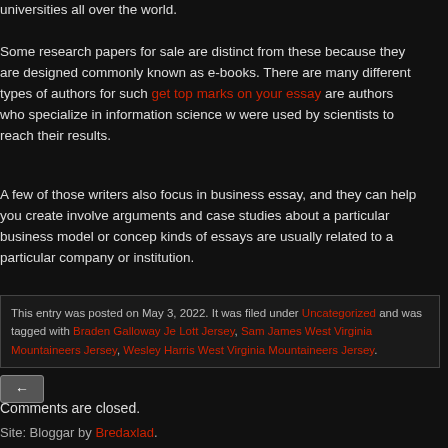universities all over the world.
Some research papers for sale are distinct from these because they are designed commonly known as e-books. There are many different types of authors for such get top marks on your essay are authors who specialize in information science were used by scientists to reach their results.
A few of those writers also focus in business essay, and they can help you create involve arguments and case studies about a particular business model or concept kinds of essays are usually related to a particular company or institution.
This entry was posted on May 3, 2022. It was filed under Uncategorized and was tagged with Braden Galloway Jersey, Lott Jersey, Sam James West Virginia Mountaineers Jersey, Wesley Harris West Virginia Mountaineers Jersey.
←
Comments are closed.
Site: Bloggar by Bredaxlad.